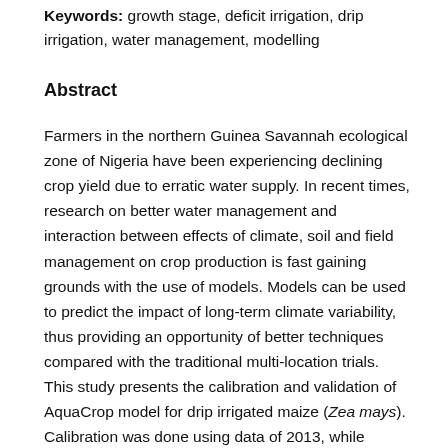Keywords: growth stage, deficit irrigation, drip irrigation, water management, modelling
Abstract
Farmers in the northern Guinea Savannah ecological zone of Nigeria have been experiencing declining crop yield due to erratic water supply. In recent times, research on better water management and interaction between effects of climate, soil and field management on crop production is fast gaining grounds with the use of models. Models can be used to predict the impact of long-term climate variability, thus providing an opportunity of better techniques compared with the traditional multi-location trials. This study presents the calibration and validation of AquaCrop model for drip irrigated maize (Zea mays). Calibration was done using data of 2013, while validation across seasons was done with data of 2014. The modelling efficiency of grain yield, biomass yield and crop water use were 81%, 90%, and